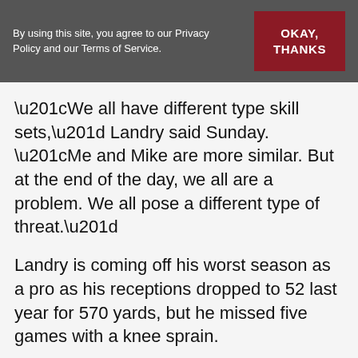By using this site, you agree to our Privacy Policy and our Terms of Service.
“We all have different type skill sets,” Landry said Sunday. “Me and Mike are more similar. But at the end of the day, we all are a problem. We all pose a different type of threat.”
Landry is coming off his worst season as a pro as his receptions dropped to 52 last year for 570 yards, but he missed five games with a knee sprain.
Before that, Landry had six seasons of 81 catches or more from 2014 through 2019, including 112 in 2017 at Miami to lead the NFL. He was traded to Cleveland for a fourth and seventh round pick before the 2018